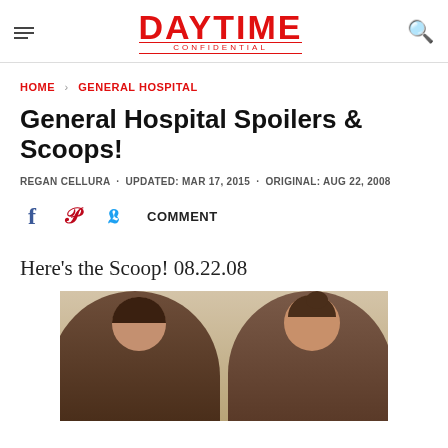DAYTIME CONFIDENTIAL
HOME › GENERAL HOSPITAL
General Hospital Spoilers & Scoops!
REGAN CELLURA · UPDATED: MAR 17, 2015 · ORIGINAL: AUG 22, 2008
Facebook Pinterest Twitter COMMENT
Here's the Scoop! 08.22.08
[Figure (photo): Two people (a man and a woman) in conversation, appearing to be from a TV show scene]